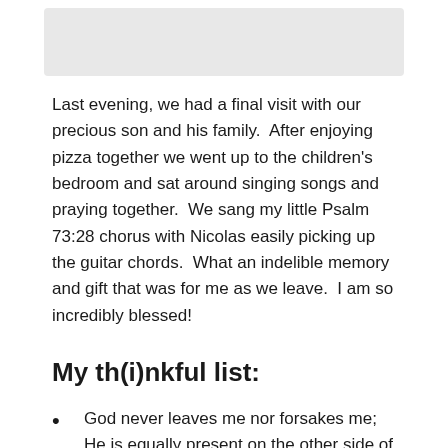[Figure (photo): Gray rectangular image placeholder at top of page]
Last evening, we had a final visit with our precious son and his family.  After enjoying pizza together we went up to the children's bedroom and sat around singing songs and praying together.  We sang my little Psalm 73:28 chorus with Nicolas easily picking up the guitar chords.  What an indelible memory and gift that was for me as we leave.  I am so incredibly blessed!
My th(i)nkful list:
God never leaves me nor forsakes me; He is equally present on the other side of the earth